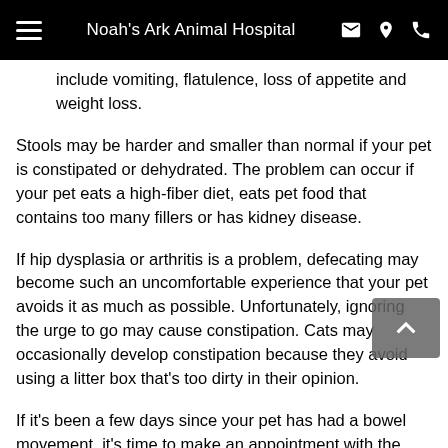Noah's Ark Animal Hospital
include vomiting, flatulence, loss of appetite and weight loss.
Stools may be harder and smaller than normal if your pet is constipated or dehydrated. The problem can occur if your pet eats a high-fiber diet, eats pet food that contains too many fillers or has kidney disease.
If hip dysplasia or arthritis is a problem, defecating may become such an uncomfortable experience that your pet avoids it as much as possible. Unfortunately, ignoring the urge to go may cause constipation. Cats may occasionally develop constipation because they avoid using a litter box that's too dirty in their opinion.
If it's been a few days since your pet has had a bowel movement, it's time to make an appointment with the